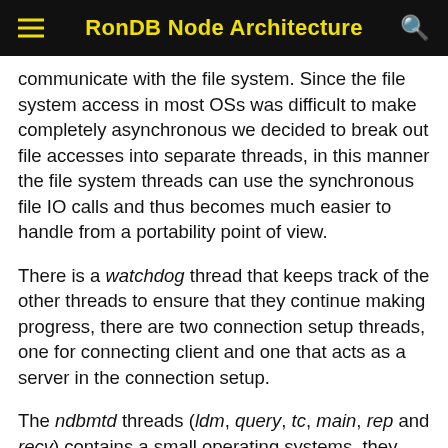RonDB Node Architecture
communicate with the file system. Since the file system access in most OSs was difficult to make completely asynchronous we decided to break out file accesses into separate threads, in this manner the file system threads can use the synchronous file IO calls and thus becomes much easier to handle from a portability point of view.
There is a watchdog thread that keeps track of the other threads to ensure that they continue making progress, there are two connection setup threads, one for connecting client and one that acts as a server in the connection setup.
The ndbmtd threads (ldm, query, tc, main, rep and recv) contains a small operating systems, they contain a scheduler and has memory buffers setup for communication with other threads in an efficient manner.